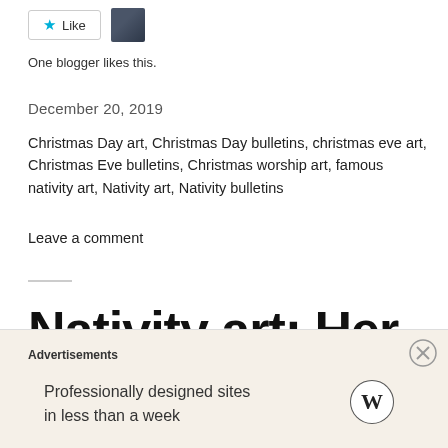[Figure (other): Like button with star icon and small avatar photo thumbnail]
One blogger likes this.
December 20, 2019
Christmas Day art, Christmas Day bulletins, christmas eve art, Christmas Eve bulletins, Christmas worship art, famous nativity art, Nativity art, Nativity bulletins
Leave a comment
Nativity art: Her World by Stushie
Advertisements
Professionally designed sites in less than a week